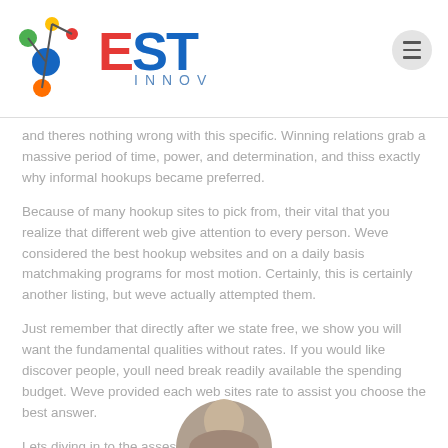[Figure (logo): EST INNOV logo with colorful molecule/network graphic on left and EST text in red/blue with INNOV subtitle in blue]
and theres nothing wrong with this specific. Winning relations grab a massive period of time, power, and determination, and thiss exactly why informal hookups became preferred.
Because of many hookup sites to pick from, their vital that you realize that different web give attention to every person. Weve considered the best hookup websites and on a daily basis matchmaking programs for most motion. Certainly, this is certainly another listing, but weve actually attempted them.
Just remember that directly after we state free, we show you will want the fundamental qualities without rates. If you would like discover people, youll need break readily available the spending budget. Weve provided each web sites rate to assist you choose the best answer.
Lets diving in to the assessment and